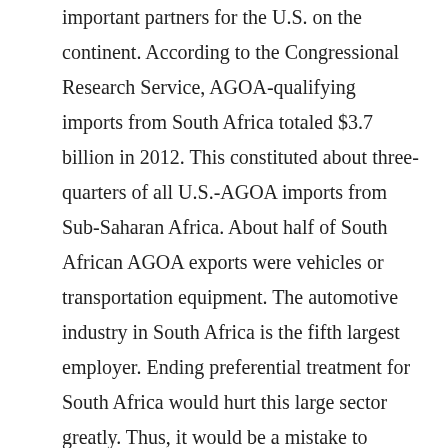important partners for the U.S. on the continent. According to the Congressional Research Service, AGOA-qualifying imports from South Africa totaled $3.7 billion in 2012. This constituted about three-quarters of all U.S.-AGOA imports from Sub-Saharan Africa. About half of South African AGOA exports were vehicles or transportation equipment. The automotive industry in South Africa is the fifth largest employer. Ending preferential treatment for South Africa would hurt this large sector greatly. Thus, it would be a mistake to graduate South Africa.

While there has been widespread support for continued inclusion of South Africa in the program, the